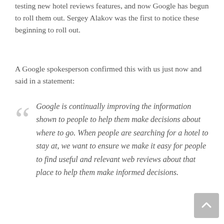testing new hotel reviews features, and now Google has begun to roll them out. Sergey Alakov was the first to notice these beginning to roll out.
A Google spokesperson confirmed this with us just now and said in a statement:
Google is continually improving the information shown to people to help them make decisions about where to go. When people are searching for a hotel to stay at, we want to ensure we make it easy for people to find useful and relevant web reviews about that place to help them make informed decisions.